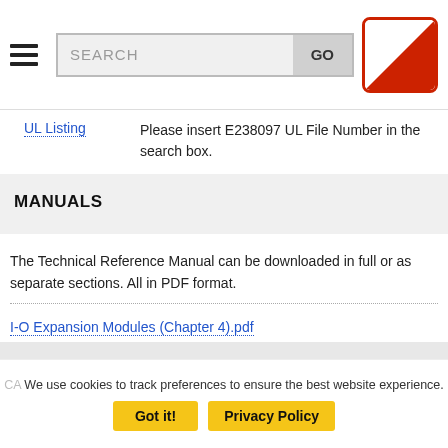[Figure (screenshot): Navigation header with hamburger menu, search box with GO button, and UL logo (red triangle on white background with red border)]
UL Listing
Please insert E238097 UL File Number in the search box.
MANUALS
The Technical Reference Manual can be downloaded in full or as separate sections. All in PDF format.
I-O Expansion Modules (Chapter 4).pdf
We use cookies to track preferences to ensure the best website experience.